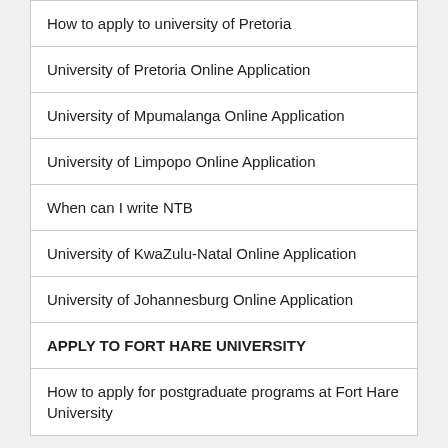How to apply to university of Pretoria
University of Pretoria Online Application
University of Mpumalanga Online Application
University of Limpopo Online Application
When can I write NTB
University of KwaZulu-Natal Online Application
University of Johannesburg Online Application
APPLY TO FORT HARE UNIVERSITY
How to apply for postgraduate programs at Fort Hare University